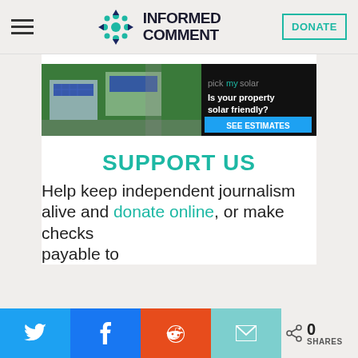INFORMED COMMENT — navigation header with hamburger menu and DONATE button
[Figure (other): Advertisement banner for pickmysolar: aerial photo of houses with solar panels, text 'pickmysolar Is your property solar friendly? SEE ESTIMATES']
SUPPORT US
Help keep independent journalism alive and donate online, or make checks payable to...
Social share buttons: Twitter, Facebook, Reddit, Email — 0 SHARES